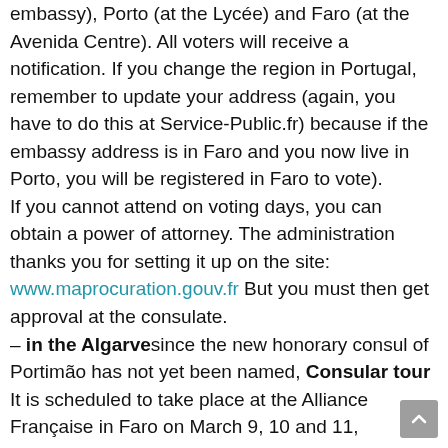embassy), Porto (at the Lycée) and Faro (at the Avenida Centre). All voters will receive a notification. If you change the region in Portugal, remember to update your address (again, you have to do this at Service-Public.fr) because if the embassy address is in Faro and you now live in Porto, you will be registered in Faro to vote).
If you cannot attend on voting days, you can obtain a power of attorney. The administration thanks you for setting it up on the site: www.maprocuration.gouv.fr But you must then get approval at the consulate.
– in the Algarve since the new honorary consul of Portimão has not yet been named, Consular tour It is scheduled to take place at the Alliance Française in Faro on March 9, 10 and 11, therefore it will be possible to send your agents at the following times: 10:00 AM to 12:00 PM; 2:30-5:00 p.m.
– in Lisbon You can introduce yourself Without an